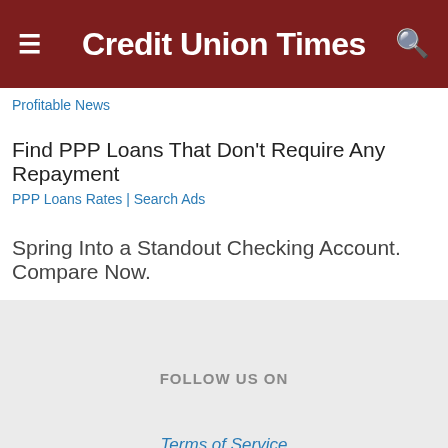Credit Union Times
Profitable News
Find PPP Loans That Don't Require Any Repayment
PPP Loans Rates | Search Ads
Spring Into a Standout Checking Account. Compare Now.
FOLLOW US ON
Terms of Service
Privacy Policy